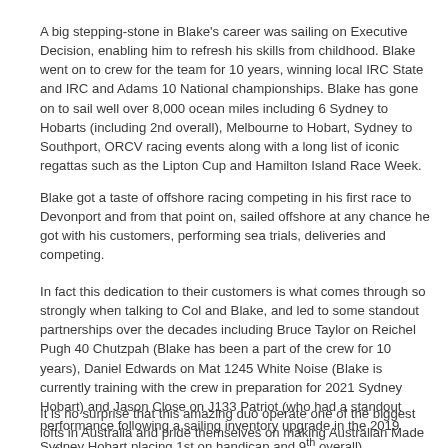A big stepping-stone in Blake's career was sailing on Executive Decision, enabling him to refresh his skills from childhood. Blake went on to crew for the team for 10 years, winning local IRC State and IRC and Adams 10 National championships. Blake has gone on to sail well over 8,000 ocean miles including 6 Sydney to Hobarts (including 2nd overall), Melbourne to Hobart, Sydney to Southport, ORCV racing events along with a long list of iconic regattas such as the Lipton Cup and Hamilton Island Race Week.
Blake got a taste of offshore racing competing in his first race to Devonport and from that point on, sailed offshore at any chance he got with his customers, performing sea trials, deliveries and competing.
In fact this dedication to their customers is what comes through so strongly when talking to Col and Blake, and led to some standout partnerships over the decades including Bruce Taylor on Reichel Pugh 40 Chutzpah (Blake has been a part of the crew for 10 years), Daniel Edwards on Mat 1245 White Noise (Blake is currently training with the crew in preparation for 2021 Sydney Hobart) and Jason Close on J133 Patriot (who had a standout performance following a sailing inventory upgrade in the 2019 Sydney Hobart placing 1st on handicap and 9th overall).
It is no surprise that this amazing duo operate one of the biggest lofts in Australia and pride themselves on making Australian Made sails for a range